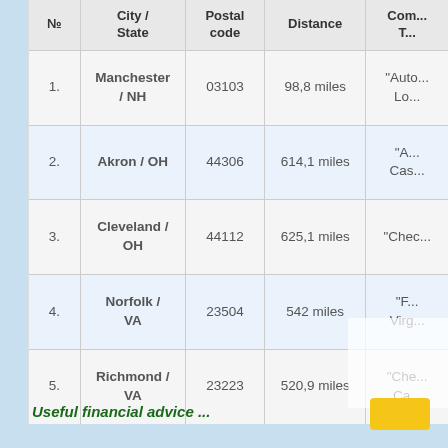| № | City / State | Postal code | Distance | Com... T... |
| --- | --- | --- | --- | --- |
| 1. | Manchester / NH | 03103 | 98,8 miles | "Auto... Lo... |
| 2. | Akron / OH | 44306 | 614,1 miles | "A... Cas... |
| 3. | Cleveland / OH | 44112 | 625,1 miles | "Chec... |
| 4. | Norfolk / VA | 23504 | 542 miles | "F... Virg... |
| 5. | Richmond / VA | 23223 | 520,9 miles | "Che... Ca... |
Useful financial advice ...